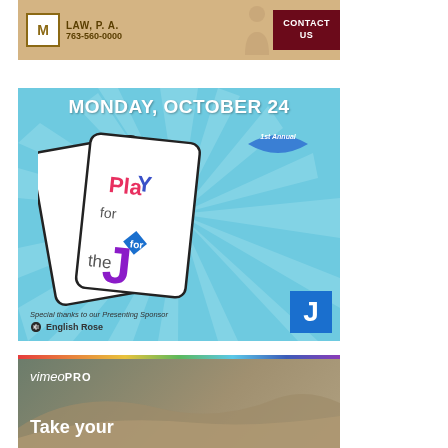[Figure (other): Law firm advertisement for M Law, P.A. with phone number 763-560-0000 and Contact Us button on dark red background]
[Figure (other): Event advertisement: MONDAY, OCTOBER 24 - 1st Annual Play for the J card game event. Special thanks to presenting sponsor English Rose. Blue J logo box in bottom right.]
[Figure (other): Vimeo PRO advertisement with beach/dunes background, rainbow stripe at top, and text reading 'Take your']